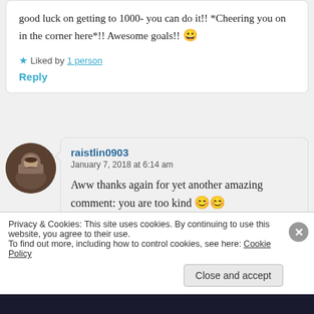good luck on getting to 1000- you can do it!! *Cheering you on in the corner here*!! Awesome goals!! 😀
★ Liked by 1 person
Reply
[Figure (photo): Circular avatar photo of a person with a beard]
raistlin0903
January 7, 2018 at 6:14 am

Aww thanks again for yet another amazing comment: you are too kind 😊😊
Privacy & Cookies: This site uses cookies. By continuing to use this website, you agree to their use.
To find out more, including how to control cookies, see here: Cookie Policy
Close and accept